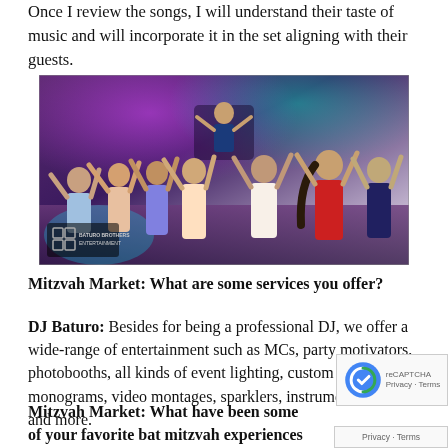Once I review the songs, I will understand their taste of music and will incorporate it in the set aligning with their guests.
[Figure (photo): Photo of a DJ party/mitzvah event with young people dancing with hands raised, colorful lighting, DJ on stage, and Baturo Brothers Entertainment logo in bottom-left corner.]
Mitzvah Market: What are some services you offer?
DJ Baturo: Besides for being a professional DJ, we offer a wide-range of entertainment such as MCs, party motivators, photobooths, all kinds of event lighting, custom name monograms, video montages, sparklers, instrument players, and more.
Mitzvah Market: What have been some of your favorite bat mitzvah experiences that you've been a part of?